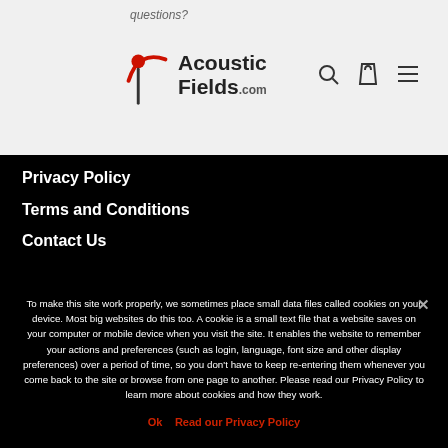questions?
[Figure (logo): Acoustic Fields .com logo with red arc icon]
Privacy Policy
Terms and Conditions
Contact Us
To make this site work properly, we sometimes place small data files called cookies on your device. Most big websites do this too. A cookie is a small text file that a website saves on your computer or mobile device when you visit the site. It enables the website to remember your actions and preferences (such as login, language, font size and other display preferences) over a period of time, so you don't have to keep re-entering them whenever you come back to the site or browse from one page to another. Please read our Privacy Policy to learn more about cookies and how they work.
Ok   Read our Privacy Policy